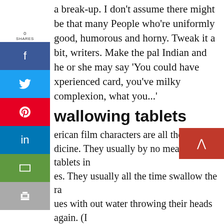a break-up. I don't assume there might be that many People who're uniformly good, humorous and horny. Tweak it a bit, writers. Make the pal Indian and he or she may say 'You could have experienced card, you've milky complexion, what you...'
wallowing tablets
erican film characters are all the time on dicine. They usually by no means take tablets in es. They usually all the time swallow the ra ues with out water throwing their heads again. (I nt three glasses of water to force-feed myself half a paracetamol.) I hold considering if the character doesn't choke to demise he's going to have everlasting whiplash. Cease it.